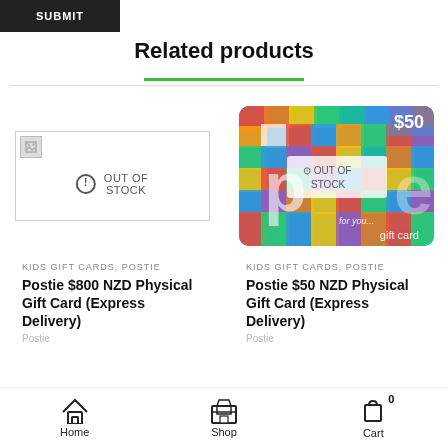[Figure (screenshot): Submit button (dark/black background with white text)]
Related products
[Figure (screenshot): Left product: broken/missing image placeholder with out of stock overlay]
[Figure (photo): Right product: Postie $50 gift card with colorful diamond pattern, $50 label top right, out of stock overlay]
KIDS GIFT CARDS, POSTIE
Postie $800 NZD Physical Gift Card (Express Delivery)
KIDS GIFT CARDS, POSTIE
Postie $50 NZD Physical Gift Card (Express Delivery)
Home  Shop  Cart 0